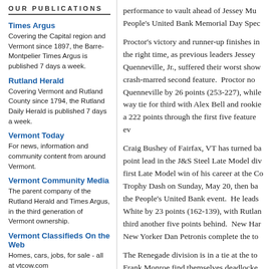OUR PUBLICATIONS
Times Argus — Covering the Capital region and Vermont since 1897, the Barre-Montpelier Times Argus is published 7 days a week.
Rutland Herald — Covering Vermont and Rutland County since 1794, the Rutland Daily Herald is published 7 days a week.
Vermont Today — For news, information and community content from around Vermont.
Vermont Community Media — The parent company of the Rutland Herald and Times Argus, in the third generation of Vermont ownership.
Vermont Classifieds On the Web — Homes, cars, jobs, for sale - all at vtcow.com
Jobs in Vermont — Find a job, start a career, look for employees with jobsinvermont.com
Champlain Business Journal e-
performance to vault ahead of Jessey Mu People's United Bank Memorial Day Spec
Proctor's victory and runner-up finishes in the right time, as previous leaders Jessey Quenneville, Jr., suffered their worst show crash-marred second feature.  Proctor no Quenneville by 26 points (253-227), while way tie for third with Alex Bell and rookie a 222 points through the first five feature ev
Craig Bushey of Fairfax, VT has turned ba point lead in the J&S Steel Late Model div first Late Model win of his career at the Co Trophy Dash on Sunday, May 20, then ba the People's United Bank event.  He leads White by 23 points (162-139), with Rutlan third another five points behind.  New Har New Yorker Dan Petronis complete the to
The Renegade division is in a tie at the to Frank Monroe find themselves deadlocke Gordon, of Milton, VT, has a pair of wins, Monroe, of Granville, NY, has a win and tv People's United Bank winner Ryan Keith